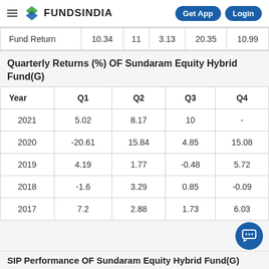FundsIndia — Get App | Login
|  |  |  |  |  |  |
| --- | --- | --- | --- | --- | --- |
| Fund Return | 10.34 | 11 | 3.13 | 20.35 | 10.99 |
Quarterly Returns (%) OF Sundaram Equity Hybrid Fund(G)
| Year | Q1 | Q2 | Q3 | Q4 |
| --- | --- | --- | --- | --- |
| 2021 | 5.02 | 8.17 | 10 | - |
| 2020 | -20.61 | 15.84 | 4.85 | 15.08 |
| 2019 | 4.19 | 1.77 | -0.48 | 5.72 |
| 2018 | -1.6 | 3.29 | 0.85 | -0.09 |
| 2017 | 7.2 | 2.88 | 1.73 | 6.03 |
SIP Performance OF Sundaram Equity Hybrid Fund(G)